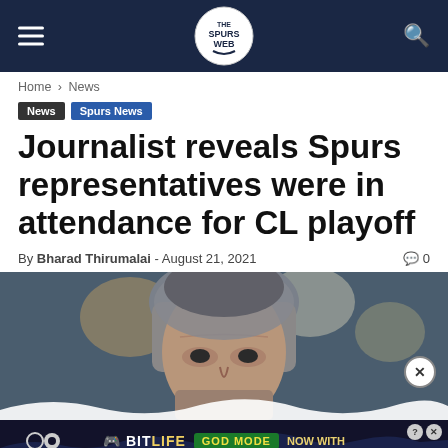Spurs Web navigation bar with logo, hamburger menu, and search icon
Home › News
News
Spurs News
Journalist reveals Spurs representatives were in attendance for CL playoff
By Bharad Thirumalai - August 21, 2021   0
[Figure (photo): Close-up photo of a man's face with grey hair against a blurred stadium background]
[Figure (infographic): BitLife advertisement banner: 'NOW WITH GOD MODE' on dark background with wave design]